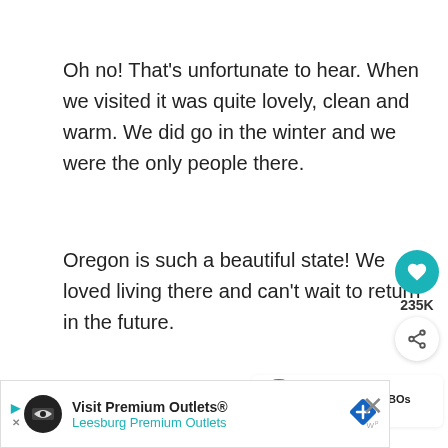Oh no! That's unfortunate to hear. When we visited it was quite lovely, clean and warm. We did go in the winter and we were the only people there.
Oregon is such a beautiful state! We loved living there and can't wait to return in the future.
Cheers,
Laura
[Figure (infographic): Social sharing sidebar with heart/like button showing 235K count and a share button]
[Figure (infographic): What's Next promo card with thumbnail image and text 'The 11 Best VRBOs On...']
[Figure (infographic): Advertisement banner for Visit Premium Outlets - Leesburg Premium Outlets]